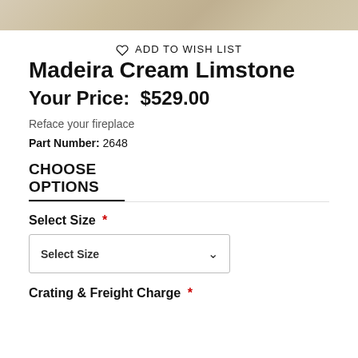[Figure (photo): Partial cropped photo of Madeira Cream Limestone texture, beige and sandy tones]
♡ ADD TO WISH LIST
Madeira Cream Limstone
Your Price:  $529.00
Reface your fireplace
Part Number: 2648
CHOOSE OPTIONS
Select Size *
Select Size
Crating & Freight Charge *